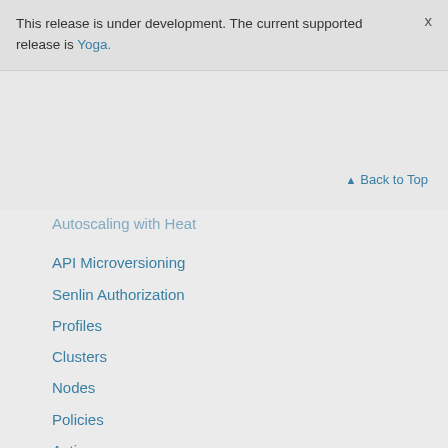This release is under development. The current supported release is Yoga.
Back to Top
Autoscaling with Heat
API Microversioning
Senlin Authorization
Profiles
Clusters
Nodes
Policies
Actions
Receiver
Senlin testing
Plugin Writer's Guide
OSProfiler
Affinity Policy V1.0
Deletion Policy V1.1
Health Policy V1.1
Load Balancing Policy V1.1
Region Placement Policy V1.0